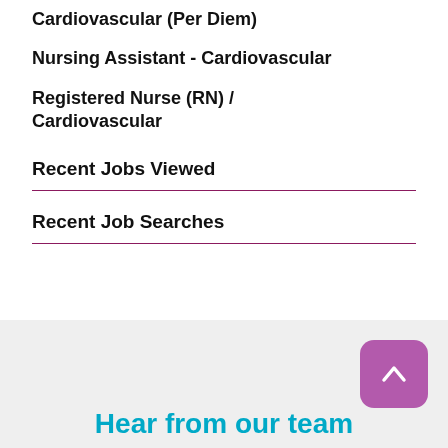Cardiovascular (Per Diem)
Nursing Assistant - Cardiovascular
Registered Nurse (RN) / Cardiovascular
Recent Jobs Viewed
Recent Job Searches
Hear from our team